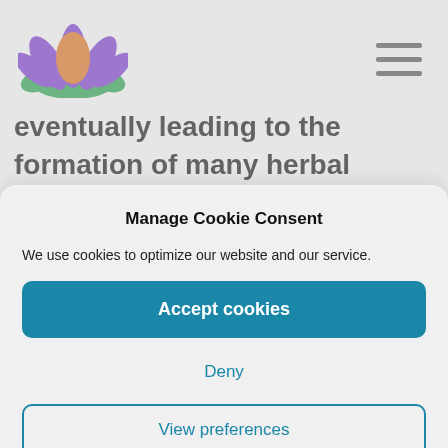[Figure (logo): Lotus flower logo with purple petals, orange center, and green base]
eventually leading to the formation of many herbal prescriptions which can treat almost any condition known to man.
Manage Cookie Consent
We use cookies to optimize our website and our service.
Accept cookies
Deny
View preferences